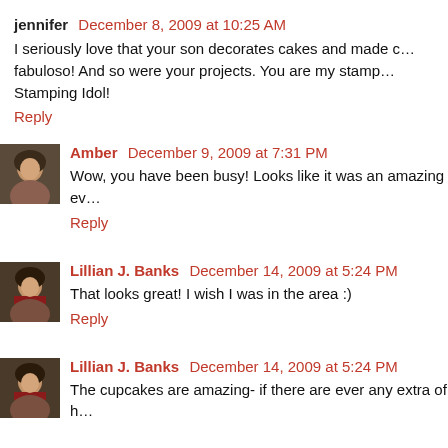jennifer  December 8, 2009 at 10:25 AM
I seriously love that your son decorates cakes and made c… fabuloso! And so were your projects. You are my stamp… Stamping Idol!
Reply
[Figure (photo): Small avatar photo of Amber, a woman with dark hair]
Amber  December 9, 2009 at 7:31 PM
Wow, you have been busy! Looks like it was an amazing ev…
Reply
[Figure (photo): Small avatar photo of Lillian J. Banks, a woman with dark hair]
Lillian J. Banks  December 14, 2009 at 5:24 PM
That looks great! I wish I was in the area :)
Reply
[Figure (photo): Small avatar photo of Lillian J. Banks, a woman with dark hair]
Lillian J. Banks  December 14, 2009 at 5:24 PM
The cupcakes are amazing- if there are ever any extra of h…